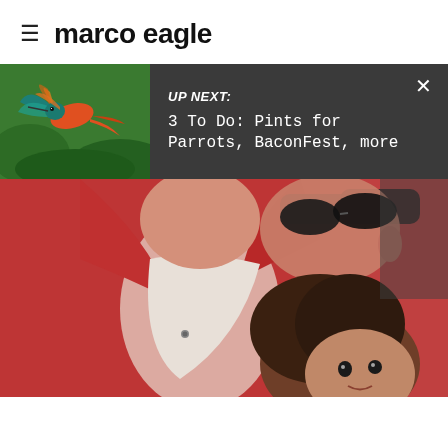marco eagle
[Figure (photo): UP NEXT banner with hummingbird thumbnail image on the left, text 'UP NEXT: 3 To Do: Pints for Parrots, BaconFest, more' on dark gray background, with X close button]
[Figure (photo): Close-up photograph of a man in a red jacket and sunglasses leaning over a young child with curly dark hair; appears to be a personal/family photo]